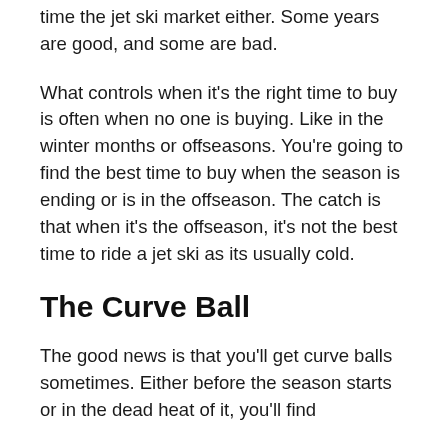time the jet ski market either. Some years are good, and some are bad.
What controls when it’s the right time to buy is often when no one is buying. Like in the winter months or offseasons. You’re going to find the best time to buy when the season is ending or is in the offseason. The catch is that when it’s the offseason, it’s not the best time to ride a jet ski as its usually cold.
The Curve Ball
The good news is that you’ll get curve balls sometimes. Either before the season starts or in the dead heat of it, you’ll find